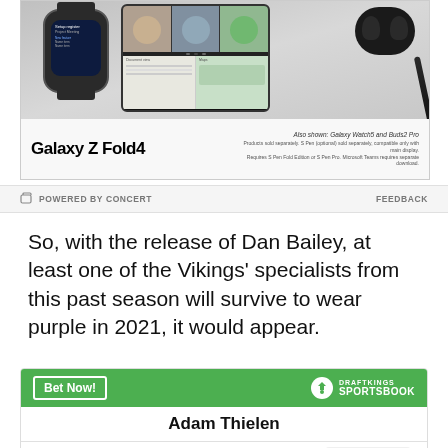[Figure (photo): Samsung Galaxy Z Fold4 advertisement showing a smartwatch, foldable phone with people on video call, earbuds, and stylus pen. Text reads 'Galaxy Z Fold4' with fine print about products sold separately. Also shown: Galaxy Watch5 and Buds2 Pro.]
POWERED BY CONCERT    FEEDBACK
So, with the release of Dan Bailey, at least one of the Vikings' specialists from this past season will survive to wear purple in 2021, it would appear.
| Adam Thielen |  |
| --- | --- |
| To win MVP | +50000 |
| To win Offensive Player of | +15000 |